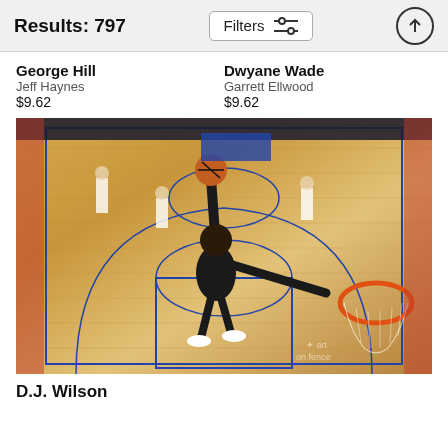Results: 797
Filters
George Hill
Jeff Haynes
$9.62
Dwyane Wade
Garrett Ellwood
$9.62
[Figure (photo): Basketball player in black uniform going up for a dunk near the basket on an indoor NBA court, aerial/low angle view with other players visible in background.]
D.J. Wilson